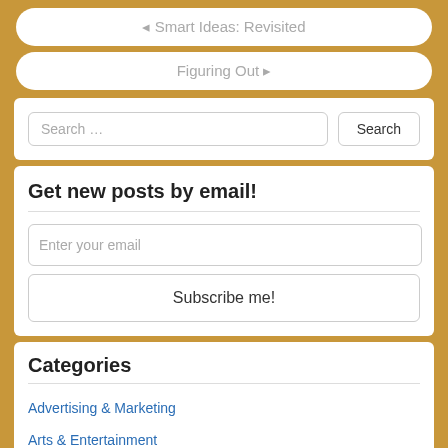◄ Smart Ideas: Revisited
Figuring Out ►
Search …
Get new posts by email!
Enter your email
Subscribe me!
Categories
Advertising & Marketing
Arts & Entertainment
Auto & Motor